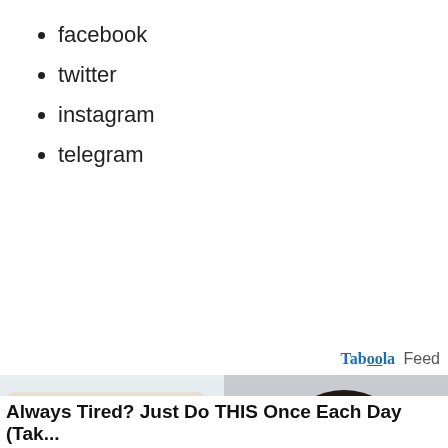facebook
twitter
instagram
telegram
Taboola Feed
[Figure (photo): An older man in a suit and glasses pointing at a frying pan full of bubbling/cooking food, set against a hospital corridor background. Advertisement image.]
Always Tired? Just Do THIS Once Each Day (Tak...